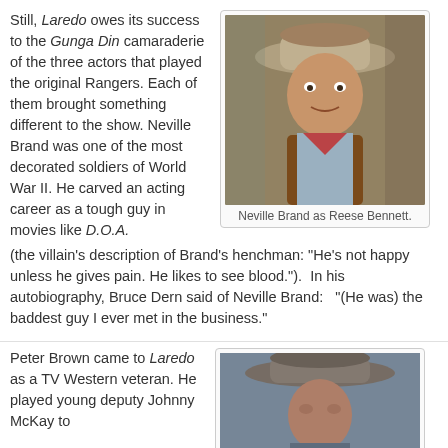Still, Laredo owes its success to the Gunga Din camaraderie of the three actors that played the original Rangers. Each of them brought something different to the show. Neville Brand was one of the most decorated soldiers of World War II. He carved an acting career as a tough guy in movies like D.O.A. (the villain's description of Brand's henchman: "He's not happy unless he gives pain. He likes to see blood.").  In his autobiography, Bruce Dern said of Neville Brand:   "(He was) the baddest guy I ever met in the business."
[Figure (photo): Color photo of Neville Brand as Reese Bennett, wearing a cowboy hat and brown vest with red neckerchief]
Neville Brand as Reese Bennett.
Peter Brown came to Laredo as a TV Western veteran. He played young deputy Johnny McKay to
[Figure (photo): Color photo of Peter Brown wearing a brown cowboy hat]